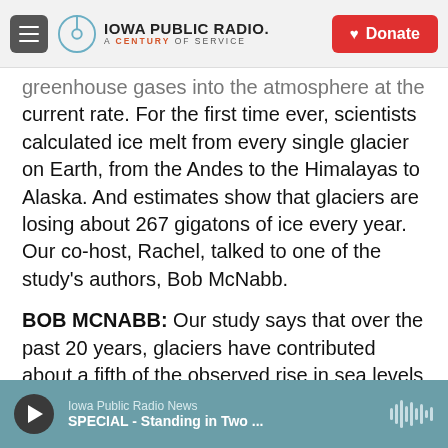Iowa Public Radio — A Century of Service | Donate
greenhouse gases into the atmosphere at the current rate. For the first time ever, scientists calculated ice melt from every single glacier on Earth, from the Andes to the Himalayas to Alaska. And estimates show that glaciers are losing about 267 gigatons of ice every year. Our co-host, Rachel, talked to one of the study's authors, Bob McNabb.
BOB MCNABB: Our study says that over the past 20 years, glaciers have contributed about a fifth of the observed rise in sea levels that we have seen over that same time period. And not only have we seen that glaciers have lost quite a bit of mass over that time period, but they have also been losing mass at
Iowa Public Radio News — SPECIAL - Standing in Two ...